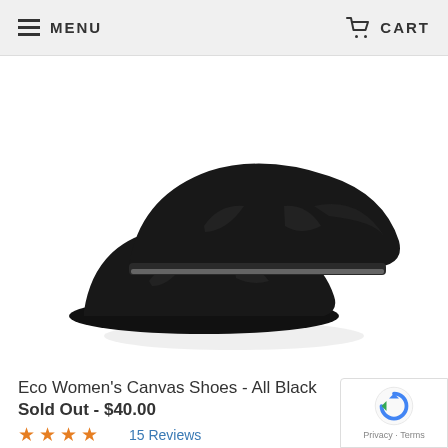MENU  CART
[Figure (photo): Two black canvas slip-on shoes stacked on each other, shown from the side on a white background. The shoes are all black including the sole, with a small white label visible on the heel of the lower shoe.]
Eco Women's Canvas Shoes - All Black
Sold Out - $40.00
★★★★½  15 Reviews
[Figure (photo): Close-up partial view of a black canvas slip-on shoe from above, showing the toe and upper portion, with a white sole visible. Cropped view showing only the front portion of the shoe.]